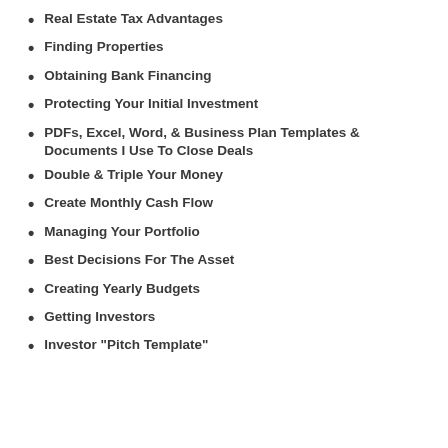Real Estate Tax Advantages
Finding Properties
Obtaining Bank Financing
Protecting Your Initial Investment
PDFs, Excel, Word, & Business Plan Templates & Documents I Use To Close Deals
Double & Triple Your Money
Create Monthly Cash Flow
Managing Your Portfolio
Best Decisions For The Asset
Creating Yearly Budgets
Getting Investors
Investor "Pitch Template"